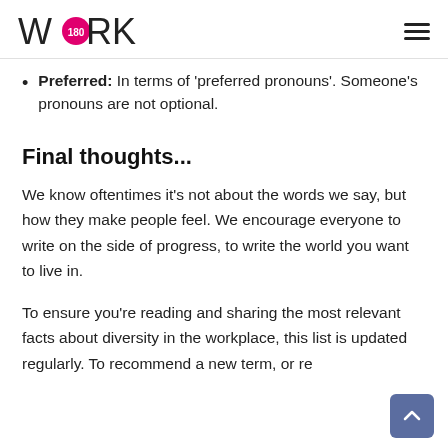WORK180
Preferred: In terms of 'preferred pronouns'. Someone's pronouns are not optional.
Final thoughts...
We know oftentimes it's not about the words we say, but how they make people feel. We encourage everyone to write on the side of progress, to write the world you want to live in.
To ensure you're reading and sharing the most relevant facts about diversity in the workplace, this list is updated regularly. To recommend a new term, or re…